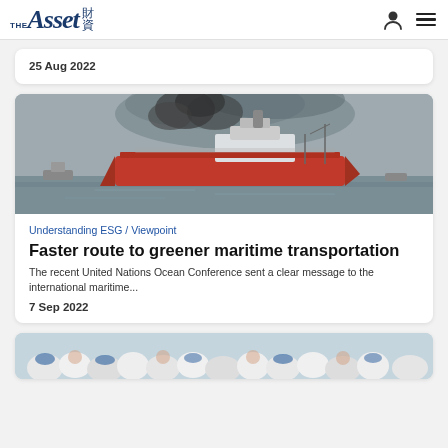THE Asset 財資
25 Aug 2022
[Figure (photo): A large red cargo/tanker ship on grey water with dark smoke rising behind it and smaller vessels in the background]
Understanding ESG / Viewpoint
Faster route to greener maritime transportation
The recent United Nations Ocean Conference sent a clear message to the international maritime...
7 Sep 2022
[Figure (photo): People in white clothing, partially visible at bottom of page]